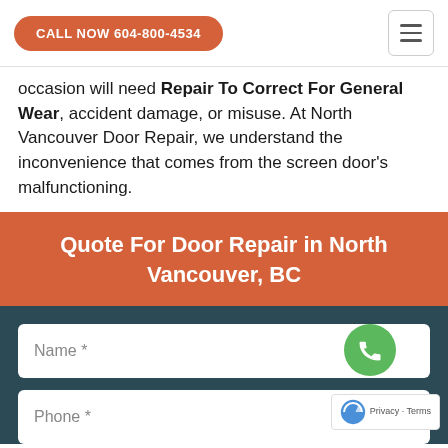CALL NOW 604-800-4534
occasion will need Repair To Correct For General Wear, accident damage, or misuse. At North Vancouver Door Repair, we understand the inconvenience that comes from the screen door's malfunctioning.
Quote For Door Repair in North Vancouver, BC
Name *
Phone *